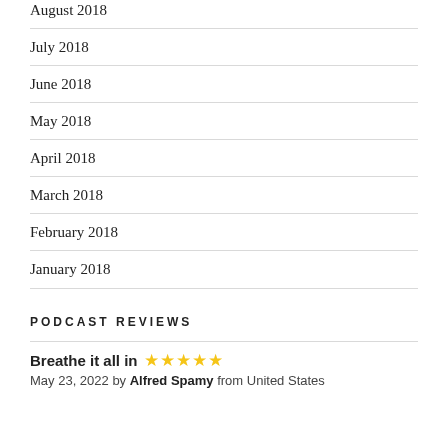August 2018
July 2018
June 2018
May 2018
April 2018
March 2018
February 2018
January 2018
PODCAST REVIEWS
Breathe it all in ★★★★★
May 23, 2022 by Alfred Spamy from United States